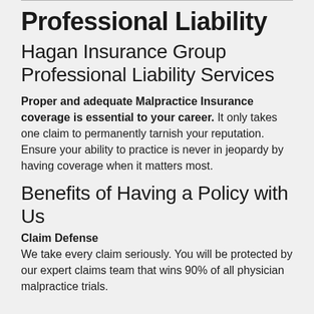Professional Liability
Hagan Insurance Group Professional Liability Services
Proper and adequate Malpractice Insurance coverage is essential to your career. It only takes one claim to permanently tarnish your reputation. Ensure your ability to practice is never in jeopardy by having coverage when it matters most.
Benefits of Having a Policy with Us
Claim Defense
We take every claim seriously. You will be protected by our expert claims team that wins 90% of all physician malpractice trials.